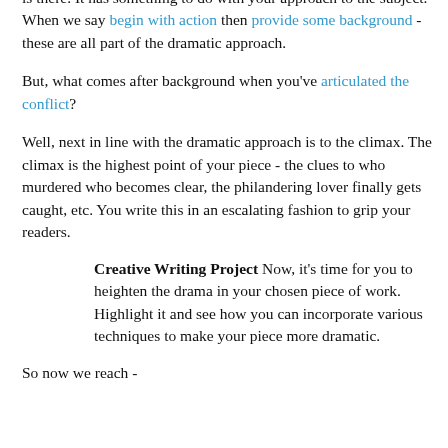whether you're actually writing something "dramatic" (be it sweet, tragic, or suspense) or something "comic", the element of drama is there. It has something to do with your approach to the subject. When we say begin with action then provide some background - these are all part of the dramatic approach.
But, what comes after background when you've articulated the conflict?
Well, next in line with the dramatic approach is to the climax. The climax is the highest point of your piece - the clues to who murdered who becomes clear, the philandering lover finally gets caught, etc. You write this in an escalating fashion to grip your readers.
Creative Writing Project Now, it's time for you to heighten the drama in your chosen piece of work. Highlight it and see how you can incorporate various techniques to make your piece more dramatic.
So now we reach -